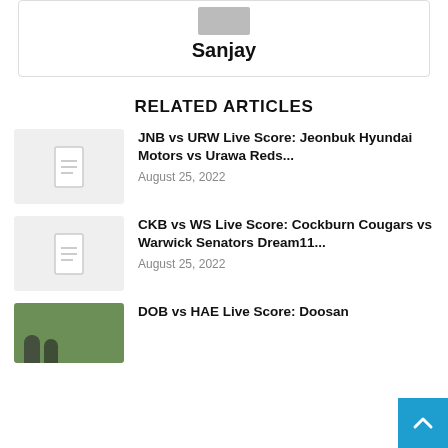[Figure (photo): Author profile card with photo thumbnail and name 'Sanjay']
Sanjay
RELATED ARTICLES
[Figure (illustration): Placeholder document icon thumbnail for article 1]
JNB vs URW Live Score: Jeonbuk Hyundai Motors vs Urawa Reds...
August 25, 2022
[Figure (illustration): Placeholder document icon thumbnail for article 2]
CKB vs WS Live Score: Cockburn Cougars vs Warwick Senators Dream11...
August 25, 2022
[Figure (photo): Sports photo thumbnail (green field with players) for article 3]
DOB vs HAE Live Score: Doosan